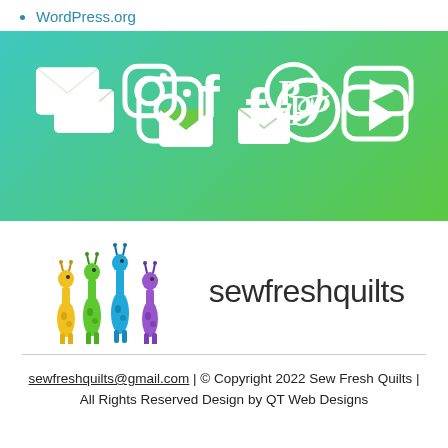WordPress.org
[Figure (infographic): Green-to-teal gradient banner with white social media icons: email/envelope, Instagram, Facebook, Pinterest, YouTube]
[Figure (logo): Sew Fresh Quilts logo with colorful giraffe illustrations and text 'sewfreshquilts']
sewfreshquilts@gmail.com | © Copyright 2022 Sew Fresh Quilts | All Rights Reserved Design by QT Web Designs